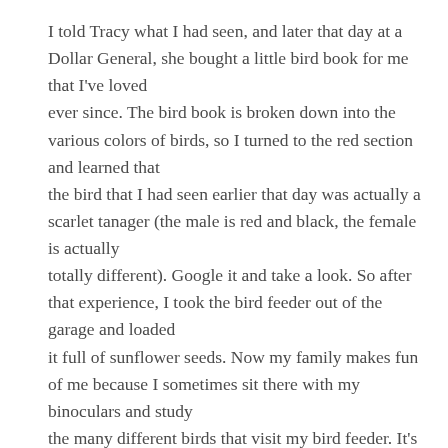I told Tracy what I had seen, and later that day at a Dollar General, she bought a little bird book for me that I've loved ever since. The bird book is broken down into the various colors of birds, so I turned to the red section and learned that the bird that I had seen earlier that day was actually a scarlet tanager (the male is red and black, the female is actually totally different). Google it and take a look. So after that experience, I took the bird feeder out of the garage and loaded it full of sunflower seeds. Now my family makes fun of me because I sometimes sit there with my binoculars and study the many different birds that visit my bird feeder. It's fascinating actually, and I check off which birds I've seen. I thought every bird was in my book but, for some